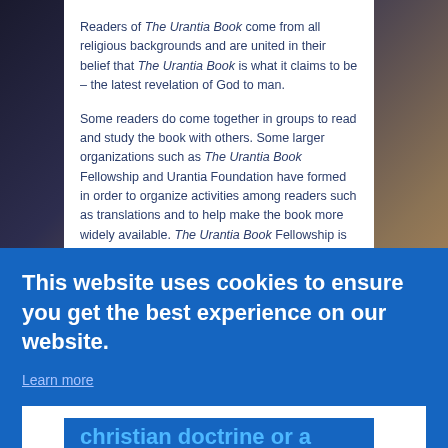Readers of The Urantia Book come from all religious backgrounds and are united in their belief that The Urantia Book is what it claims to be – the latest revelation of God to man.
Some readers do come together in groups to read and study the book with others. Some larger organizations such as The Urantia Book Fellowship and Urantia Foundation have formed in order to organize activities among readers such as translations and to help make the book more widely available. The Urantia Book Fellowship is also involved in bringing together groups of people to learn and to get to know each other.
This website uses cookies to ensure you get the best experience on our website.
Learn more
Got it!
christian doctrine or a